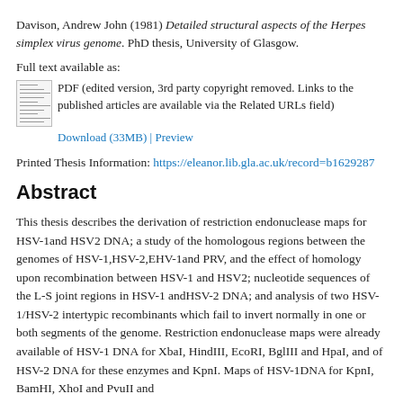Davison, Andrew John (1981) Detailed structural aspects of the Herpes simplex virus genome. PhD thesis, University of Glasgow.
Full text available as:
PDF (edited version, 3rd party copyright removed. Links to the published articles are available via the Related URLs field)
Download (33MB) | Preview
Printed Thesis Information: https://eleanor.lib.gla.ac.uk/record=b1629287
Abstract
This thesis describes the derivation of restriction endonuclease maps for HSV-1and HSV2 DNA; a study of the homologous regions between the genomes of HSV-1,HSV-2,EHV-1and PRV, and the effect of homology upon recombination between HSV-1 and HSV2; nucleotide sequences of the L-S joint regions in HSV-1 andHSV-2 DNA; and analysis of two HSV-1/HSV-2 intertypic recombinants which fail to invert normally in one or both segments of the genome. Restriction endonuclease maps were already available of HSV-1 DNA for XbaI, HindIII, EcoRI, BglIII and HpaI, and of HSV-2 DNA for these enzymes and KpnI. Maps of HSV-1DNA for KpnI, BamHI, XhoI and PvuII and